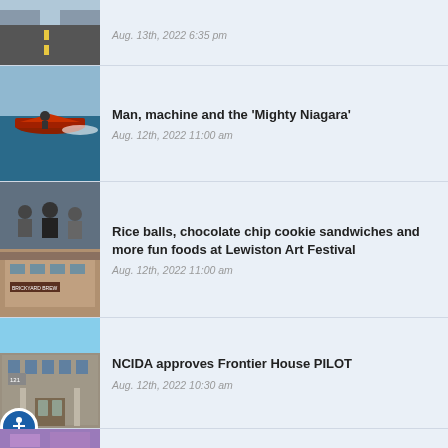[Figure (photo): Partial road/street scene photo (top cropped)]
Aug. 13th, 2022 6:35 pm
[Figure (photo): Speedboat on water - Mighty Niagara race]
Man, machine and the 'Mighty Niagara'
Aug. 12th, 2022 11:00 am
[Figure (photo): Festival food vendors and Brickyard Brewing building]
Rice balls, chocolate chip cookie sandwiches and more fun foods at Lewiston Art Festival
Aug. 12th, 2022 11:00 am
[Figure (photo): Frontier House building exterior]
NCIDA approves Frontier House PILOT
Aug. 12th, 2022 10:30 am
[Figure (photo): Partial image at bottom - purple/colorful]